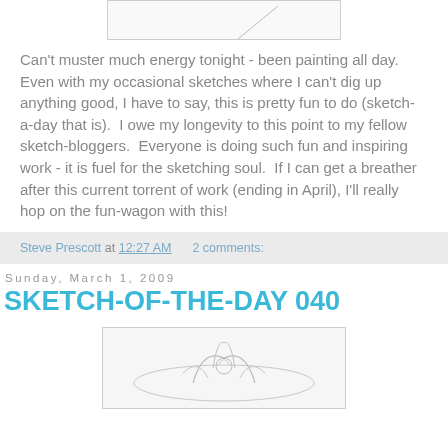[Figure (illustration): Top of a pencil sketch drawing, partially visible, with a faint diagonal line on white/light gray background with border.]
Can't muster much energy tonight - been painting all day.  Even with my occasional sketches where I can't dig up anything good, I have to say, this is pretty fun to do (sketch-a-day that is).  I owe my longevity to this point to my fellow sketch-bloggers.  Everyone is doing such fun and inspiring work - it is fuel for the sketching soul.  If I can get a breather after this current torrent of work (ending in April), I'll really hop on the fun-wagon with this!
Steve Prescott at 12:27 AM    2 comments:
Sunday, March 1, 2009
SKETCH-OF-THE-DAY 040
[Figure (illustration): Pencil sketch of an ornate flower or plant form with curved stems and detailed petals/leaves, drawn in graphite on white background.]